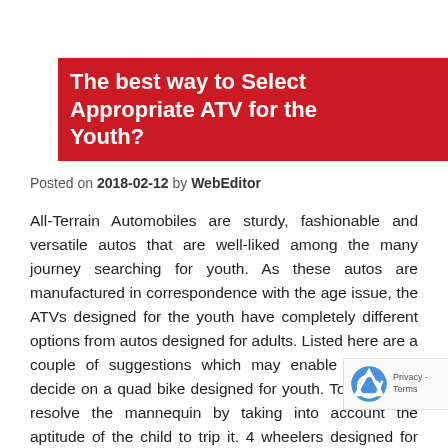The best way to Select Appropriate ATV for the Youth?
Posted on 2018-02-12 by WebEditor
All-Terrain Automobiles are sturdy, fashionable and versatile autos that are well-liked among the many journey searching for youth. As these autos are manufactured in correspondence with the age issue, the ATVs designed for the youth have completely different options from autos designed for adults. Listed here are a couple of suggestions which may enable you to to decide on a quad bike designed for youth. To start with, resolve the mannequin by taking into account the aptitude of the child to trip it. 4 wheelers designed for youth can be found from autos fitted with 50cc engines that may be appropriate for a six yr previous and above. Barely older kids would be capable of handle 90cc engines.Additionally, the kids need to be comfy with the dimensions of the ATV too. As an